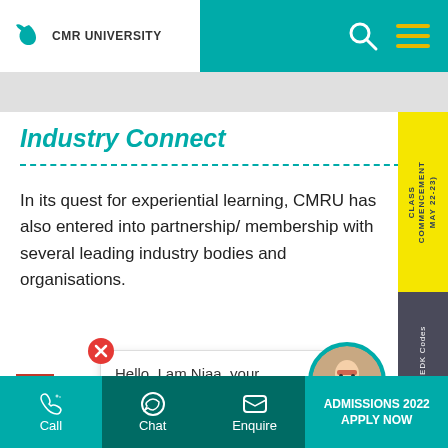CMR UNIVERSITY
Industry Connect
In its quest for experiential learning, CMRU has also entered into partnership/ membership with several leading industry bodies and organisations.
[Figure (screenshot): Chat popup with close button and text: Hello, I am Niaa, your Admission Assistant.]
[Figure (logo): Red and black cube logo with letter F]
[Figure (photo): Avatar of Niaa, admission assistant chatbot, circular photo]
Call | Chat | Enquire | ADMISSIONS 2022 APPLY NOW